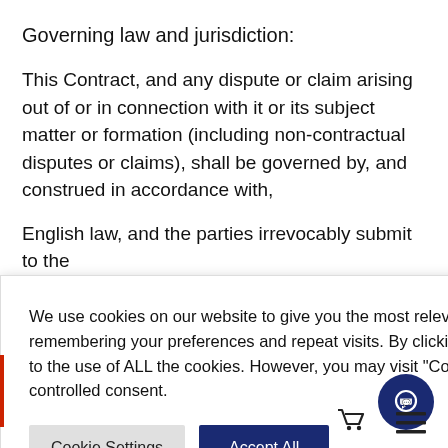Governing law and jurisdiction:
This Contract, and any dispute or claim arising out of or in connection with it or its subject matter or formation (including non-contractual disputes or claims), shall be governed by, and construed in accordance with,
English law, and the parties irrevocably submit to the ... and Wales.
... Data Subjects
... data from th ... and for th
[Figure (screenshot): Cookie consent popup overlay with text: 'We use cookies on our website to give you the most relevant experience by remembering your preferences and repeat visits. By clicking "Accept All", you consent to the use of ALL the cookies. However, you may visit "Cookie Settings" to provide a controlled consent.' Two buttons: 'Cookie Settings' and 'Accept All'.]